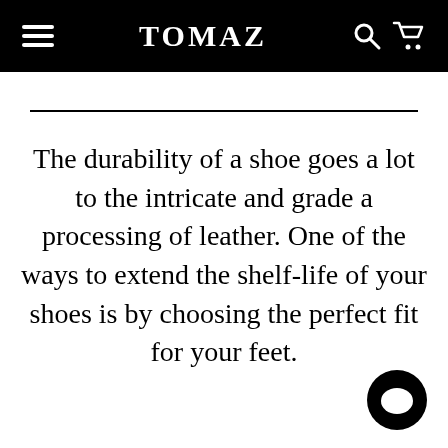TOMAZ
The durability of a shoe goes a lot to the intricate and grade a processing of leather. One of the ways to extend the shelf-life of your shoes is by choosing the perfect fit for your feet.